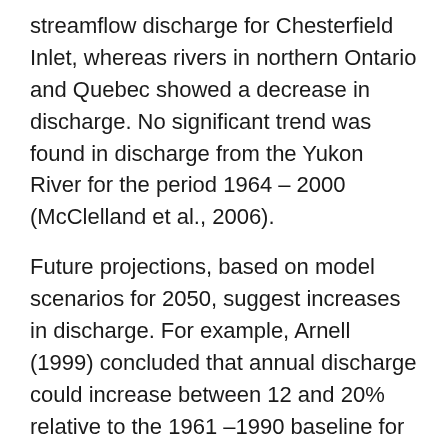streamflow discharge for Chesterfield Inlet, whereas rivers in northern Ontario and Quebec showed a decrease in discharge. No significant trend was found in discharge from the Yukon River for the period 1964 – 2000 (McClelland et al., 2006).
Future projections, based on model scenarios for 2050, suggest increases in discharge. For example, Arnell (1999) concluded that annual discharge could increase between 12 and 20% relative to the 1961 –1990 baseline for the Mackenzie River, and between 20 and 30% for the Yukon River. Broadly speaking, projections of future